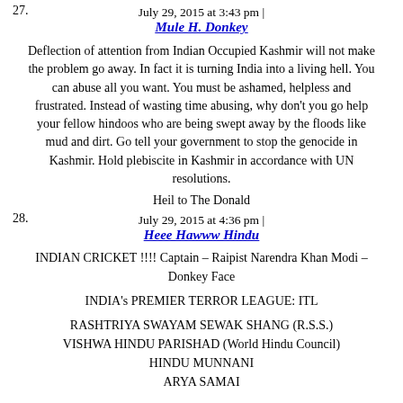July 29, 2015 at 3:43 pm |
27.
Mule H. Donkey
Deflection of attention from Indian Occupied Kashmir will not make the problem go away. In fact it is turning India into a living hell. You can abuse all you want. You must be ashamed, helpless and frustrated. Instead of wasting time abusing, why don't you go help your fellow hindoos who are being swept away by the floods like mud and dirt. Go tell your government to stop the genocide in Kashmir. Hold plebiscite in Kashmir in accordance with UN resolutions.
Heil to The Donald
July 29, 2015 at 4:36 pm |
28.
Heee Hawww Hindu
INDIAN CRICKET !!!! Captain – Raipist Narendra Khan Modi – Donkey Face
INDIA's PREMIER TERROR LEAGUE: ITL
RASHTRIYA SWAYAM SEWAK SHANG (R.S.S.)
VISHWA HINDU PARISHAD (World Hindu Council)
HINDU MUNNANI
ARYA SAMAI